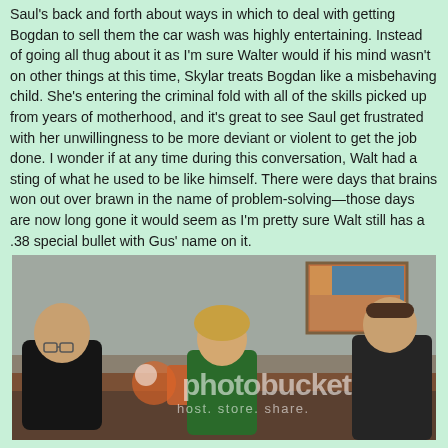Saul's back and forth about ways in which to deal with getting Bogdan to sell them the car wash was highly entertaining. Instead of going all thug about it as I'm sure Walter would if his mind wasn't on other things at this time, Skylar treats Bogdan like a misbehaving child. She's entering the criminal fold with all of the skills picked up from years of motherhood, and it's great to see Saul get frustrated with her unwillingness to be more deviant or violent to get the job done. I wonder if at any time during this conversation, Walt had a sting of what he used to be like himself. There were days that brains won out over brawn in the name of problem-solving—those days are now long gone it would seem as I'm pretty sure Walt still has a .38 special bullet with Gus' name on it.
[Figure (photo): A still from Breaking Bad showing three characters sitting and talking: a bald man on the left wearing glasses and dark clothing, a woman in the center wearing a green top, and a man on the right in dark clothing. A painting hangs on the wall behind them. A Photobucket watermark with logo and 'host. store. share.' text overlays the image.]